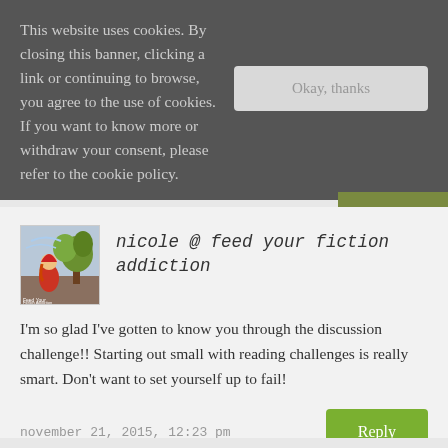This website uses cookies. By closing this banner, clicking a link or continuing to browse, you agree to the use of cookies. If you want to know more or withdraw your consent, please refer to the cookie policy.
Okay, thanks
nicole @ feed your fiction addiction
I'm so glad I've gotten to know you through the discussion challenge!! Starting out small with reading challenges is really smart. Don't want to set yourself up to fail!
november 21, 2015, 12:23 pm
Reply